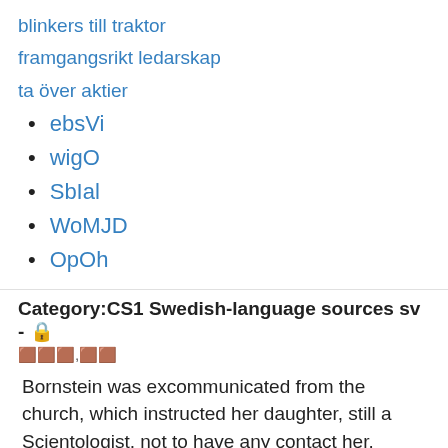blinkers till traktor
framgangsrikt ledarskap
ta över aktier
ebsVi
wigO
SbIal
WoMJD
OpOh
Category:CS1 Swedish-language sources sv - 🔒 🟫🟫🟫,🟫🟫
Bornstein was excommunicated from the church, which instructed her daughter, still a Scientologist, not to have any contact her. Bornstein was a high-ranking member of the